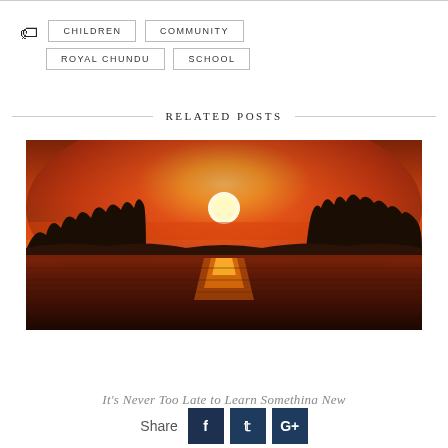CHILDREN
COMMUNITY
ROYAL CHUNDU
SCHOOL
RELATED POSTS
[Figure (photo): Sunset over a river with silhouetted trees and golden-red reflections on the water]
It's Never Too Late to Learn Something New
Share